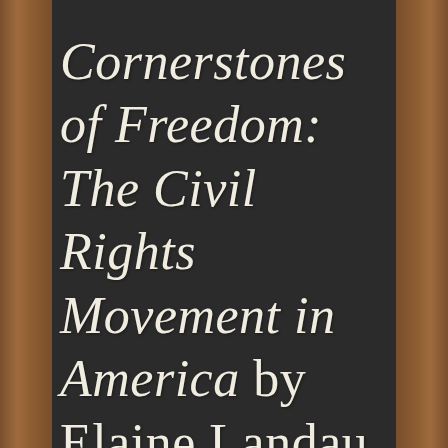Cornerstones of Freedom: The Civil Rights Movement in America by Elaine Landau